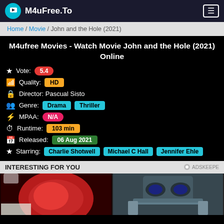M4uFree.To
Home / Movie / John and the Hole (2021)
M4ufree Movies - Watch Movie John and the Hole (2021) Online
Vote: 5.4
Quality: HD
Director: Pascual Sisto
Genre: Drama Thriller
MPAA: N/A
Runtime: 103 min
Released: 06 Aug 2021
Starring: Charlie Shotwell Michael C Hall Jennifer Ehle
INTERESTING FOR YOU
[Figure (photo): Left: gloved hand holding a petri dish with red bacterial culture. Right: man in suit looking through binoculars.]